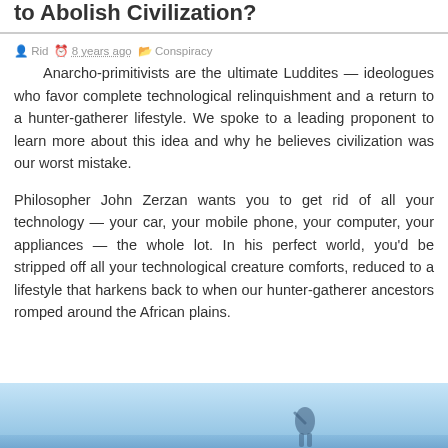to Abolish Civilization?
Rid  8 years ago  Conspiracy
Anarcho-primitivists are the ultimate Luddites — ideologues who favor complete technological relinquishment and a return to a hunter-gatherer lifestyle. We spoke to a leading proponent to learn more about this idea and why he believes civilization was our worst mistake.
Philosopher John Zerzan wants you to get rid of all your technology — your car, your mobile phone, your computer, your appliances — the whole lot. In his perfect world, you'd be stripped off all your technological creature comforts, reduced to a lifestyle that harkens back to when our hunter-gatherer ancestors romped around the African plains.
[Figure (photo): Bottom portion of an outdoor photo with blue sky background, appears to show a person in a natural outdoor setting]